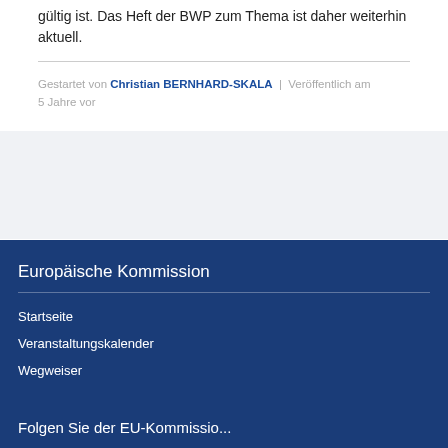gültig ist. Das Heft der BWP zum Thema ist daher weiterhin aktuell.
Gestartet von Christian BERNHARD-SKALA | Veröffentlich am 5 Jahre vor
Europäische Kommission
Startseite
Veranstaltungskalender
Wegweiser
Folgen Sie der EU-Kommissio...